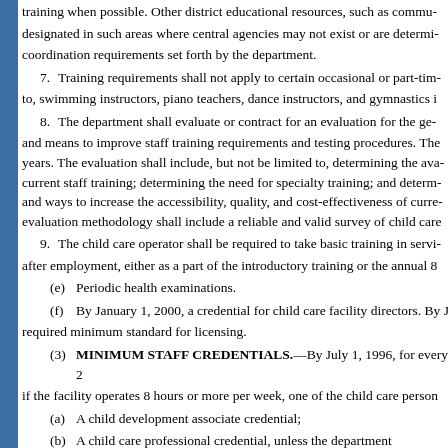training when possible. Other district educational resources, such as community designated in such areas where central agencies may not exist or are determined coordination requirements set forth by the department.
7. Training requirements shall not apply to certain occasional or part-time to, swimming instructors, piano teachers, dance instructors, and gymnastics i
8. The department shall evaluate or contract for an evaluation for the general and means to improve staff training requirements and testing procedures. The years. The evaluation shall include, but not be limited to, determining the availability of current staff training; determining the need for specialty training; and determining and ways to increase the accessibility, quality, and cost-effectiveness of current evaluation methodology shall include a reliable and valid survey of child care
9. The child care operator shall be required to take basic training in service after employment, either as a part of the introductory training or the annual 8
(e) Periodic health examinations.
(f) By January 1, 2000, a credential for child care facility directors. By J required minimum standard for licensing.
(3) MINIMUM STAFF CREDENTIALS.—By July 1, 1996, for every 2 if the facility operates 8 hours or more per week, one of the child care person
(a) A child development associate credential;
(b) A child care professional credential, unless the department determines credential is not equivalent to or greater than a child development associate c
(c) A credential that is equivalent to or greater than the credential require